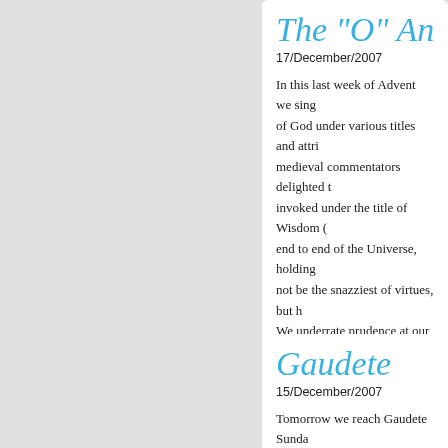The "O" An
17/December/2007
In this last week of Advent we sing of God under various titles and attrof medieval commentators delighted t invoked under the title of Wisdom ( end to end of the Universe, holding not be the snazziest of virtues, but h We underrate prudence at our peril. great and the little things of life.
Gaudete
15/December/2007
Tomorrow we reach Gaudete Sunda will be in use for this one day; but i expectation. No one has written mo ourselves to the Word of God and h is offered us?